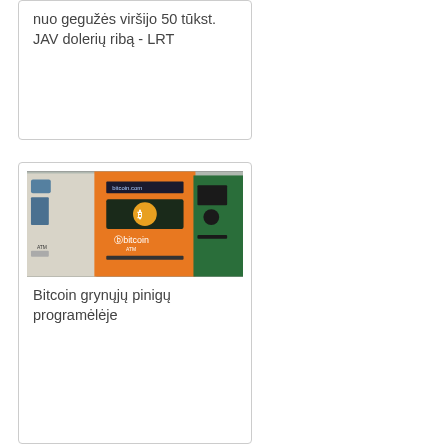nuo gegužės viršijo 50 tūkst. JAV dolerių ribą - LRT
[Figure (photo): Photo of Bitcoin ATM machines including an orange Bitcoin.com ATM and other cryptocurrency ATMs]
Bitcoin grynųjų pinigų programėlėje